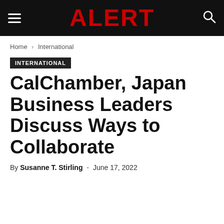ALERT
Home › International
INTERNATIONAL
CalChamber, Japan Business Leaders Discuss Ways to Collaborate
By Susanne T. Stirling - June 17, 2022